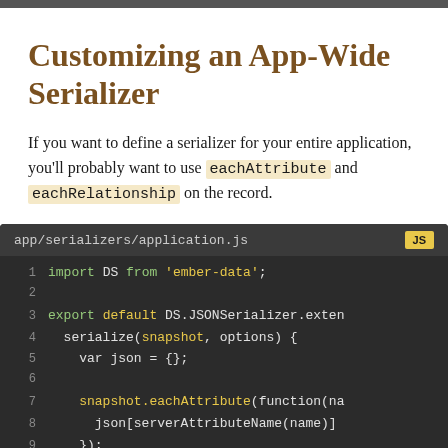Customizing an App-Wide Serializer
If you want to define a serializer for your entire application, you'll probably want to use eachAttribute and eachRelationship on the record.
[Figure (screenshot): Code block showing app/serializers/application.js with JS badge. Lines 1-10 shown: import DS from 'ember-data'; blank; export default DS.JSONSerializer.extend( serialize(snapshot, options) { var json = {}; blank; snapshot.eachAttribute(function(na json[serverAttributeName(name)] }); blank line 10 and partial line 11]